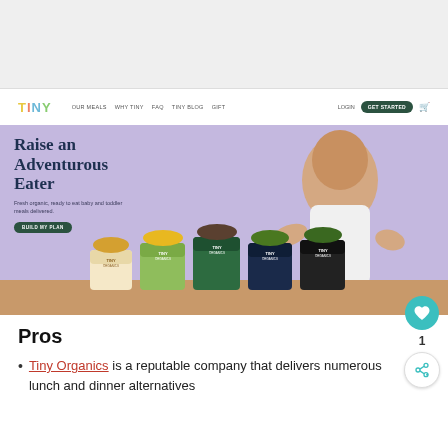[Figure (screenshot): Top gray placeholder area of a web page screenshot]
[Figure (screenshot): Tiny Organics website screenshot showing navigation bar with logo 'TINY', menu items OUR MEALS, WHY TINY, FAQ, TINY BLOG, GIFT, LOGIN, GET STARTED button, and a hero banner with text 'Raise an Adventurous Eater', subtext 'Fresh organic, ready to eat baby and toddler meals delivered.', a BUILD MY PLAN button, and product cups with a baby image on purple background]
Pros
Tiny Organics is a reputable company that delivers numerous lunch and dinner alternatives